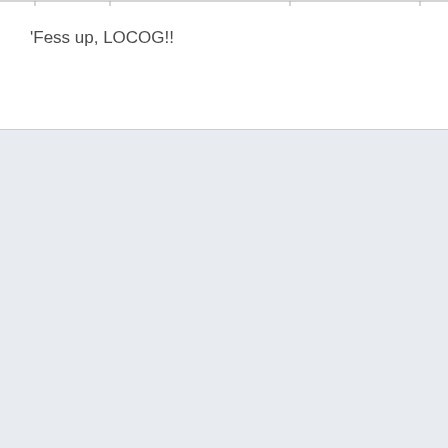'Fess up, LOCOG!!
[Figure (other): Light blue-gray background section filling the lower portion of the page]